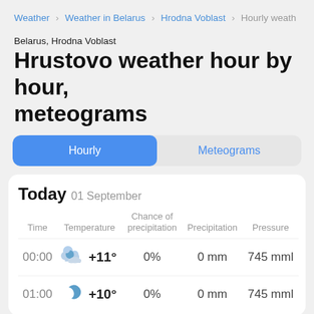Weather > Weather in Belarus > Hrodna Voblast > Hourly weath
Belarus, Hrodna Voblast
Hrustovo weather hour by hour, meteograms
Hourly | Meteograms
Today  01 September
| Time | Temperature | Chance of precipitation | Precipitation | Pressure |
| --- | --- | --- | --- | --- |
| 00:00 | +11° | 0% | 0 mm | 745 mml |
| 01:00 | +10° | 0% | 0 mm | 745 mml |